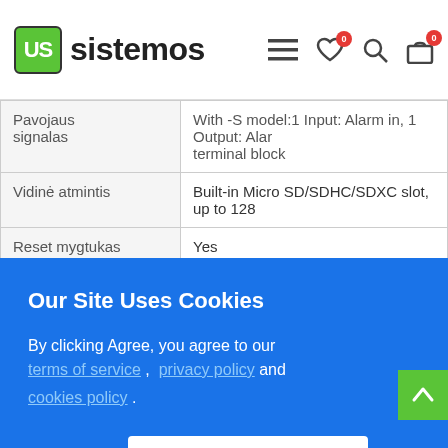US sistemos
| Property | Value |
| --- | --- |
| Pavojaus signalas | With -S model:1 Input: Alarm in, 1 Output: Alar terminal block |
| Vidinė atmintis | Built-in Micro SD/SDHC/SDXC slot, up to 128 |
| Reset mygtukas | Yes |
| Garsas |  |
Our Site Uses Cookies

By clicking Agree, you agree to our terms of service , privacy policy and cookies policy .
| aptikimas | Cross a pre-defined virtual line |